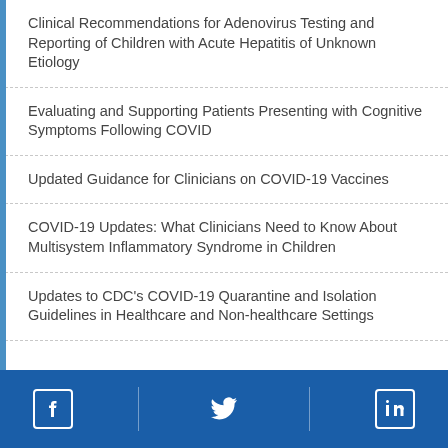Clinical Recommendations for Adenovirus Testing and Reporting of Children with Acute Hepatitis of Unknown Etiology
Evaluating and Supporting Patients Presenting with Cognitive Symptoms Following COVID
Updated Guidance for Clinicians on COVID-19 Vaccines
COVID-19 Updates: What Clinicians Need to Know About Multisystem Inflammatory Syndrome in Children
Updates to CDC's COVID-19 Quarantine and Isolation Guidelines in Healthcare and Non-healthcare Settings
Social media links: Facebook, Twitter, LinkedIn